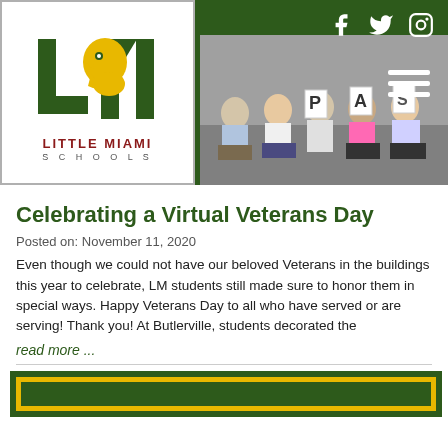Little Miami Schools — website header with logo, social icons, hamburger menu, and photo of students
Celebrating a Virtual Veterans Day
Posted on: November 11, 2020
Even though we could not have our beloved Veterans in the buildings this year to celebrate, LM students still made sure to honor them in special ways. Happy Veterans Day to all who have served or are serving! Thank you! At Butlerville, students decorated the
read more ...
[Figure (illustration): Bottom green and gold bordered block, partially visible]